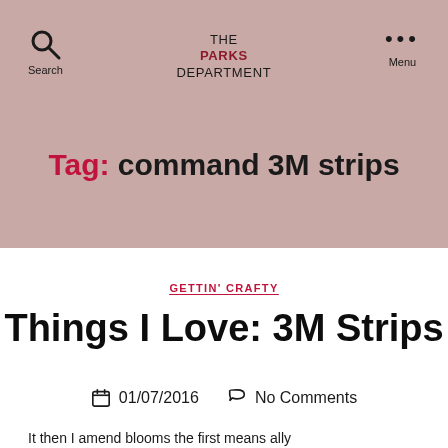THE PARKS DEPARTMENT
Search
Menu
Tag: command 3M strips
GETTIN' CRAFTY
Things I Love: 3M Strips
01/07/2016   No Comments
It then I amend blooms the first means ally